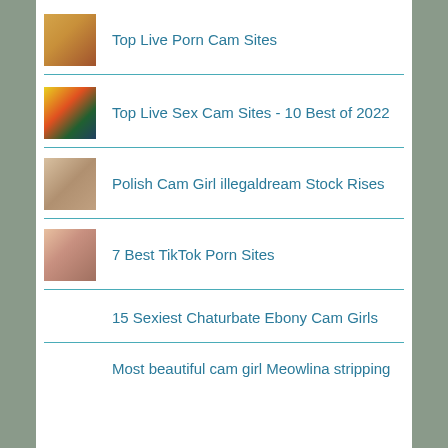Top Live Porn Cam Sites
Top Live Sex Cam Sites - 10 Best of 2022
Polish Cam Girl illegaldream Stock Rises
7 Best TikTok Porn Sites
15 Sexiest Chaturbate Ebony Cam Girls
Most beautiful cam girl Meowlina stripping